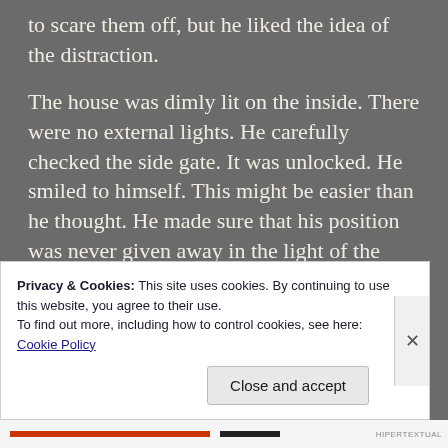to scare them off, but he liked the idea of the distraction.
The house was dimly lit on the inside. There were no external lights. He carefully checked the side gate. It was unlocked. He smiled to himself. This might be easier than he thought. He made sure that his position was never given away in the light of the fireworks.
The lights were off and the shades drawn in the windows on the side of the house. He
Privacy & Cookies: This site uses cookies. By continuing to use this website, you agree to their use.
To find out more, including how to control cookies, see here: Cookie Policy
Close and accept